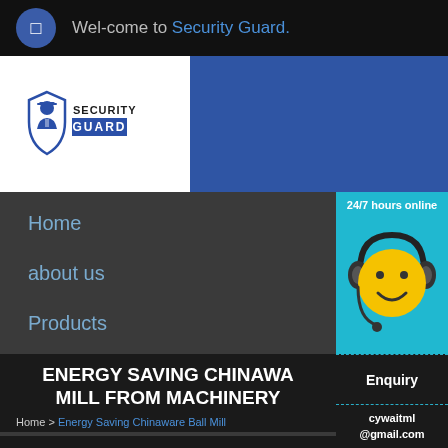Wel-come to Security Guard.
[Figure (logo): Security Guard logo with shield icon and guard silhouette, blue shield with SECURITY GUARD text]
Home
about us
Products
Contact
[Figure (illustration): Yellow smiley face emoji with headset for 24/7 online support chat. Text: 24/7 hours online. Button: Click me to chat >>]
ENERGY SAVING CHINAWA MILL FROM MACHINERY
Home > Energy Saving Chinaware Ball Mill
Enquiry
cywaitml @gmail.com